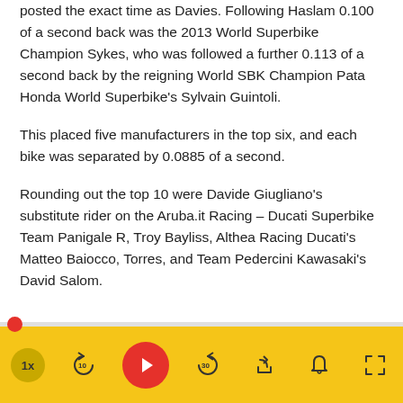posted the exact time as Davies. Following Haslam 0.100 of a second back was the 2013 World Superbike Champion Sykes, who was followed a further 0.113 of a second back by the reigning World SBK Champion Pata Honda World Superbike's Sylvain Guintoli.
This placed five manufacturers in the top six, and each bike was separated by 0.0885 of a second.
Rounding out the top 10 were Davide Giugliano's substitute rider on the Aruba.it Racing – Ducati Superbike Team Panigale R, Troy Bayliss, Althea Racing Ducati's Matteo Baiocco, Torres, and Team Pedercini Kawasaki's David Salom.
[Figure (screenshot): Video player control bar with yellow background, red progress dot at start of seek bar, playback controls including speed (1x), rewind 10s, play button (red circle), forward 30s, share, notifications bell, and fullscreen icons.]